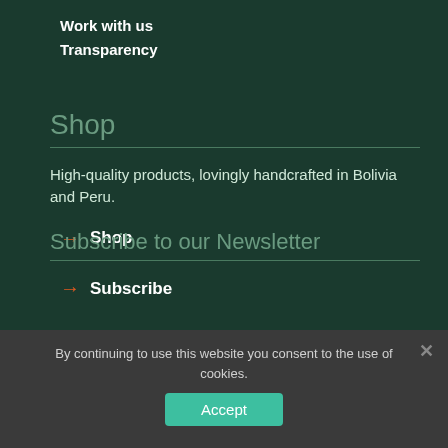Work with us
Transparency
Shop
High-quality products, lovingly handcrafted in Bolivia and Peru.
→ Shop
Subscribe to our Newsletter
→ Subscribe
By continuing to use this website you consent to the use of cookies.